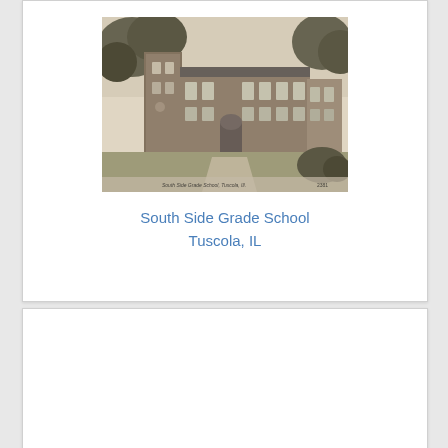[Figure (photo): Black and white vintage photograph of South Side Grade School in Tuscola, IL. A two-story brick building with arched entrance, multiple windows, and trees surrounding it. A caption at the bottom of the photo reads 'South Side Grade School, Tuscola, Ill.' with a number.]
South Side Grade School
Tuscola, IL